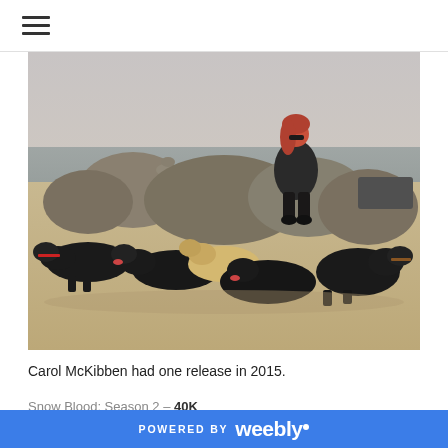≡ (hamburger menu icon)
[Figure (photo): A woman with red hair wearing dark clothing sits on rocks at a beach. She is surrounded by five dogs — four black Labradors and one yellow Labrador — all resting on the sand in front of her. Large boulders are visible behind her, and the ocean and overcast sky can be seen in the background.]
Carol McKibben had one release in 2015.
Snow Blood: Season 2 – 40K
POWERED BY weebly